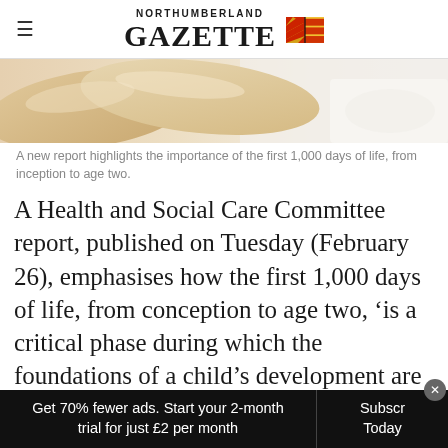NORTHUMBERLAND GAZETTE
[Figure (photo): Close-up photo of bed pillows and white bedding/sheets]
A new report highlights the importance of the first 1,000 days of life, from inception to age two.
A Health and Social Care Committee report, published on Tuesday (February 26), emphasises how the first 1,000 days of life, from conception to age two, ‘is a critical phase during which the foundations of a child’s development are laid’, but claims not enough is being done to support children and their
Get 70% fewer ads. Start your 2-month trial for just £2 per month | Subscribe Today